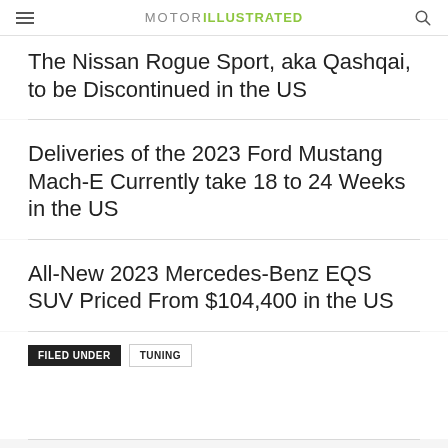MOTOR ILLUSTRATED
The Nissan Rogue Sport, aka Qashqai, to be Discontinued in the US
Deliveries of the 2023 Ford Mustang Mach-E Currently take 18 to 24 Weeks in the US
All-New 2023 Mercedes-Benz EQS SUV Priced From $104,400 in the US
FILED UNDER  TUNING